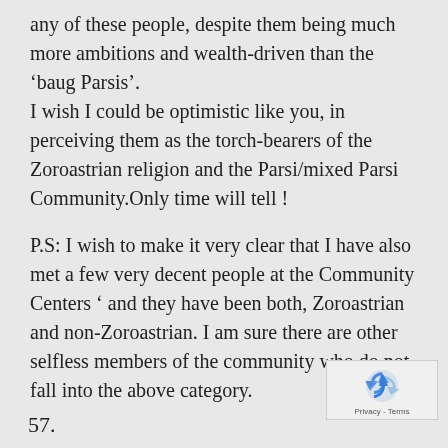any of these people, despite them being much more ambitions and wealth-driven than the ‘baug Parsis’.
I wish I could be optimistic like you, in perceiving them as the torch-bearers of the Zoroastrian religion and the Parsi/mixed Parsi Community.Only time will tell !
P.S: I wish to make it very clear that I have also met a few very decent people at the Community Centers ‘ and they have been both, Zoroastrian and non-Zoroastrian. I am sure there are other selfless members of the community who do not fall into the above category.
[Figure (logo): reCAPTCHA logo with Privacy - Terms label]
57.